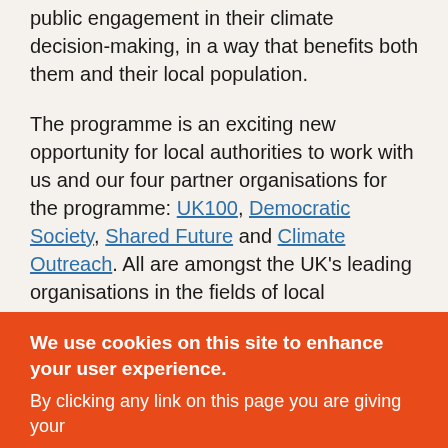public engagement in their climate decision-making, in a way that benefits both them and their local population.
The programme is an exciting new opportunity for local authorities to work with us and our four partner organisations for the programme: UK100, Democratic Society, Shared Future and Climate Outreach. All are amongst the UK's leading organisations in the fields of local government, public participation in climate decision-making, and climate communications and advocacy.
About the Local Climate Engagement programme
We use cookies on this site to enhance your user experience.
By clicking any link on this page you are giving your